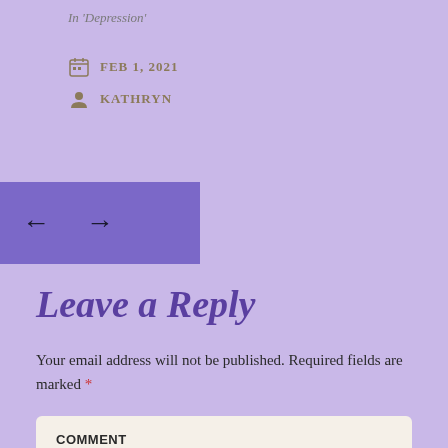In 'Depression'
FEB 1, 2021
KATHRYN
[Figure (other): Navigation arrows left and right on purple background bar]
Leave a Reply
Your email address will not be published. Required fields are marked *
COMMENT